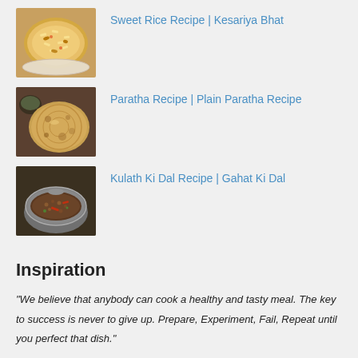Sweet Rice Recipe | Kesariya Bhat
Paratha Recipe | Plain Paratha Recipe
Kulath Ki Dal Recipe | Gahat Ki Dal
Inspiration
“We believe that anybody can cook a healthy and tasty meal. The key to success is never to give up. Prepare, Experiment, Fail, Repeat until you perfect that dish.”